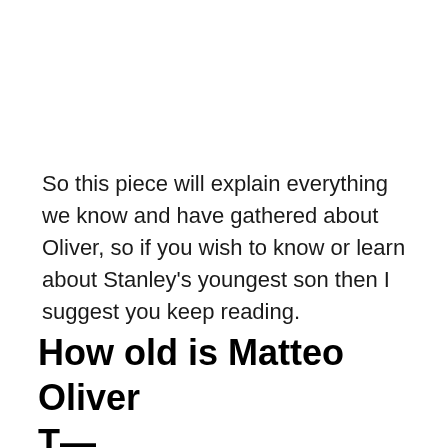So this piece will explain everything we know and have gathered about Oliver, so if you wish to know or learn about Stanley's youngest son then I suggest you keep reading.
How old is Matteo Oliver T—